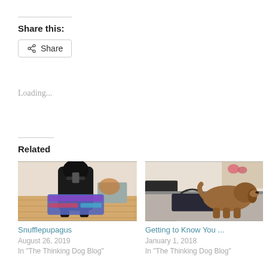Share this:
Share
Loading...
Related
[Figure (photo): Photo of a dog seen from behind, wearing a colorful outfit, on a wooden floor]
Snufflepupagus
August 26, 2019
In "The Thinking Dog Blog"
[Figure (photo): Photo of a brown dog on a gray surface near furniture]
Getting to Know You ...
January 1, 2018
In "The Thinking Dog Blog"